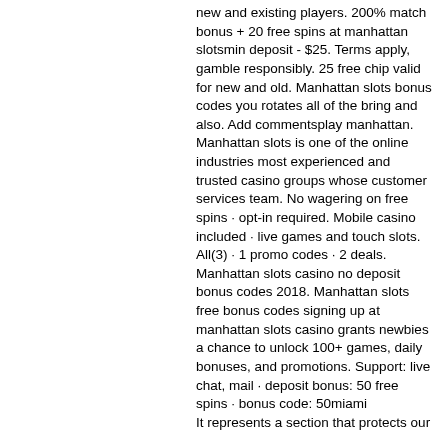new and existing players. 200% match bonus + 20 free spins at manhattan slotsmin deposit - $25. Terms apply, gamble responsibly. 25 free chip valid for new and old. Manhattan slots bonus codes you rotates all of the bring and also. Add commentsplay manhattan. Manhattan slots is one of the online industries most experienced and trusted casino groups whose customer services team. No wagering on free spins · opt-in required. Mobile casino included · live games and touch slots. All(3) · 1 promo codes · 2 deals. Manhattan slots casino no deposit bonus codes 2018. Manhattan slots free bonus codes signing up at manhattan slots casino grants newbies a chance to unlock 100+ games, daily bonuses, and promotions. Support: live chat, mail · deposit bonus: 50 free spins · bonus code: 50miami
It represents a section that protects our